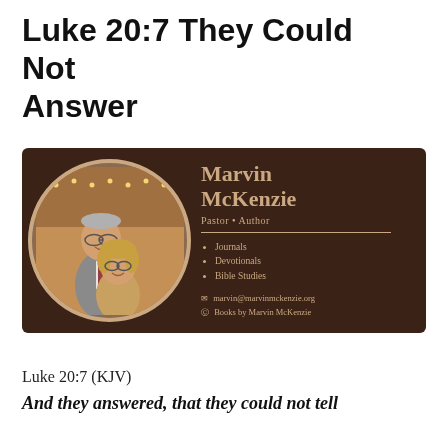Luke 20:7 They Could Not Answer
[Figure (photo): A promotional card with a dark brown background showing a couple (man and woman) in a circular photo on the left. The right side shows text: 'Marvin McKenzie, Pastor • Author' with bullet points listing Journals, Devotionals, Bible Studies, and contact info: marvin@marvinmckenzie.org, Books by Marvin McKenzie]
Luke 20:7 (KJV)
And they answered, that they could not tell whence it was.